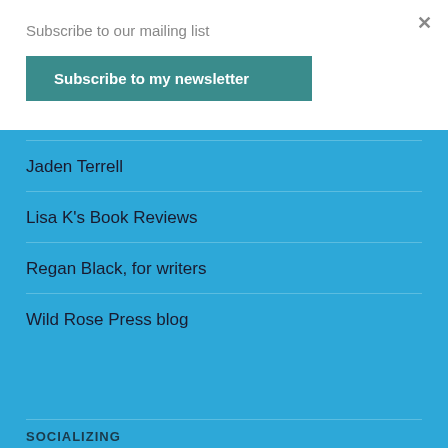Subscribe to our mailing list
Subscribe to my newsletter
Jaden Terrell
Lisa K's Book Reviews
Regan Black, for writers
Wild Rose Press blog
SOCIALIZING